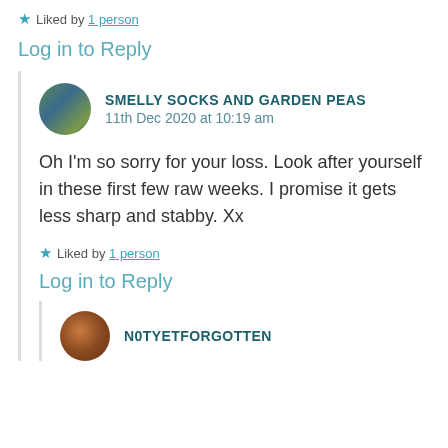★ Liked by 1 person
Log in to Reply
SMELLY SOCKS AND GARDEN PEAS
11th Dec 2020 at 10:19 am
Oh I'm so sorry for your loss. Look after yourself in these first few raw weeks. I promise it gets less sharp and stabby. Xx
★ Liked by 1 person
Log in to Reply
N0TYETFORGOTTEN